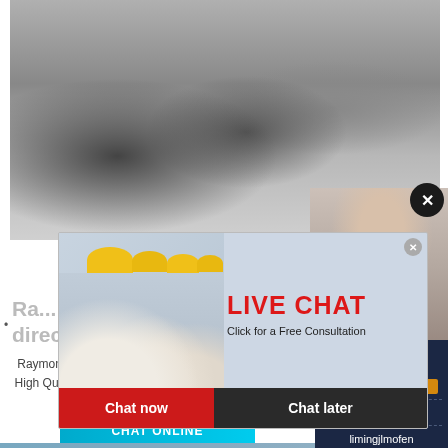[Figure (photo): Industrial machinery and stone crushing equipment at a mining or quarry site]
[Figure (photo): Live chat popup overlay with workers in yellow hard hats, LIVE CHAT heading in red, Chat now and Chat later buttons]
[Figure (photo): Customer service representative woman wearing headset, smiling]
Ra... direc...
Raymond mill from Henan Hongke Heavy Machinery High Quality Raymond mill Manufacturing and Export... Alibaba.
ave any requests, click here.
Quotation
Enquiry
limingjlmofen@sina.com
CHAT ONLINE